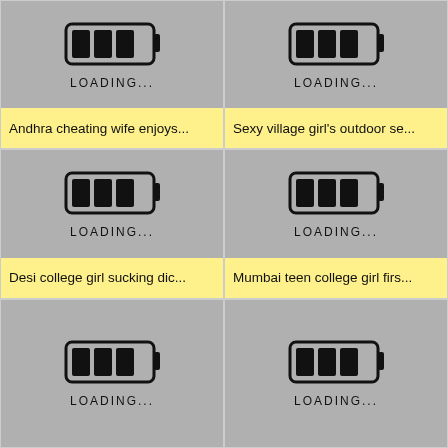[Figure (screenshot): Loading placeholder thumbnail with battery-style loading icon and text LOADING...]
Andhra cheating wife enjoys...
[Figure (screenshot): Loading placeholder thumbnail with battery-style loading icon and text LOADING...]
Sexy village girl's outdoor se...
[Figure (screenshot): Loading placeholder thumbnail with battery-style loading icon and text LOADING...]
Desi college girl sucking dic...
[Figure (screenshot): Loading placeholder thumbnail with battery-style loading icon and text LOADING...]
Mumbai teen college girl firs...
[Figure (screenshot): Loading placeholder thumbnail with battery-style loading icon and text LOADING... (partial)]
[Figure (screenshot): Loading placeholder thumbnail with battery-style loading icon and text LOADING... (partial)]